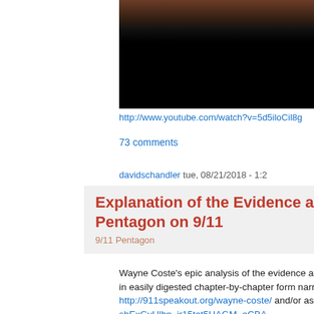[Figure (screenshot): Video thumbnail showing dark brownish-red top and black lower portion, representing a YouTube video embed]
http://www.youtube.com/watch?v=5d5iloCil8g
73 comments
davidschandler tue, 08/21/2018 - 1:2
Explanation of the Evidence at the Pentagon on 9/11
9/11 Pentagon
Wayne Coste's epic analysis of the evidence at the Pentagon (originally a 5hr 40 min video Powerpoint) is now available in easily digested chapter-by-chapter form narrated by David Chandler (me). You can find it at http://911speakout.org/wayne-coste/ and/or as a YouTube playlist here: https://www.youtube.com/playlist?list=PLQDv-sbExGyUlhn_ir15tet5HAGM_eCBA. Wayne started this project when he was on the other side of the fence, convinced that no plane hit the Pentagon. He was working on a compilation to prove that case and ended up convincing himself otherwise.
receives no or corporate rely on your support.
ime:
Donate
hly:
Before 9/11 Was Based Around Osama Bin Laden Carry Out an Aerial Attack on Wash